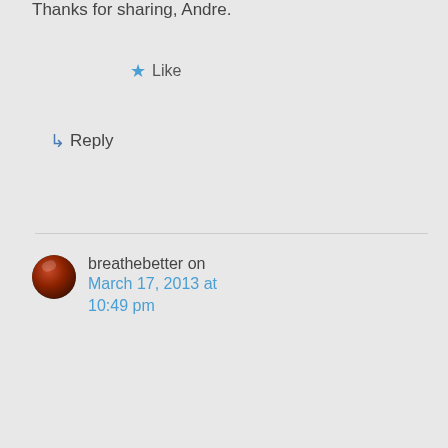Thanks for sharing, Andre.
Like
Reply
breathebetter on March 17, 2013 at 10:49 pm
Hi Allan,
I would be careful here: “It’s likely because they don’t have a lot of interest in living a holy life and walking a godly